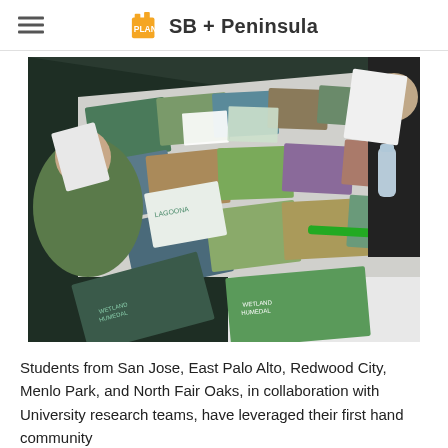SB + Peninsula
[Figure (photo): Students seated at a long table covered with nature and wildlife educational pamphlets, brochures, and materials. People are holding papers and reviewing the materials spread across the table.]
Students from San Jose, East Palo Alto, Redwood City, Menlo Park, and North Fair Oaks, in collaboration with University research teams, have leveraged their first hand community